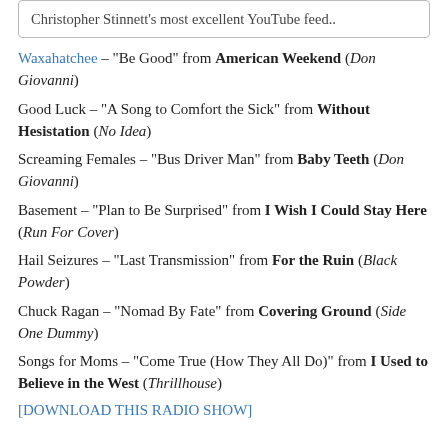Christopher Stinnett's most excellent YouTube feed..
Waxahatchee – "Be Good" from American Weekend (Don Giovanni)
Good Luck – "A Song to Comfort the Sick" from Without Hesistation (No Idea)
Screaming Females – "Bus Driver Man" from Baby Teeth (Don Giovanni)
Basement – "Plan to Be Surprised" from I Wish I Could Stay Here (Run For Cover)
Hail Seizures – "Last Transmission" from For the Ruin (Black Powder)
Chuck Ragan – "Nomad By Fate" from Covering Ground (Side One Dummy)
Songs for Moms – "Come True (How They All Do)" from I Used to Believe in the West (Thrillhouse)
[DOWNLOAD THIS RADIO SHOW]